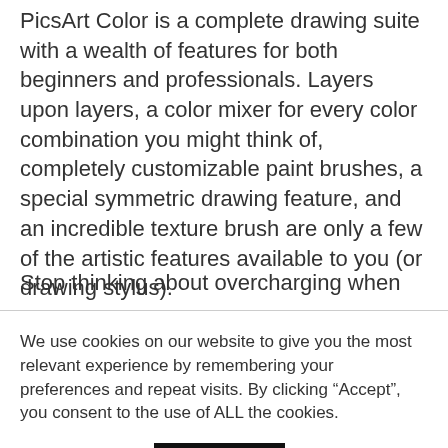PicsArt Color is a complete drawing suite with a wealth of features for both beginners and professionals. Layers upon layers, a color mixer for every color combination you might think of, completely customizable paint brushes, a special symmetric drawing feature, and an incredible texture brush are only a few of the artistic features available to you (or drawing stylus).
Stop thinking about overcharging when
We use cookies on our website to give you the most relevant experience by remembering your preferences and repeat visits. By clicking “Accept”, you consent to the use of ALL the cookies.
Cookie settings   ACCEPT